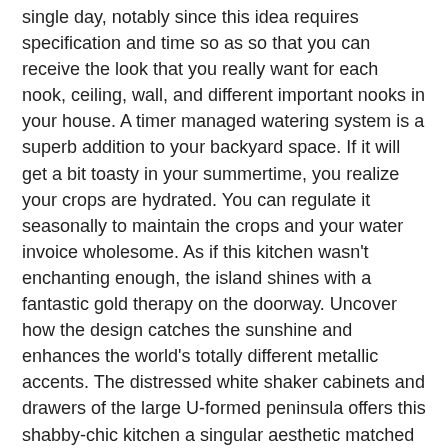single day, notably since this idea requires specification and time so as so that you can receive the look that you really want for each nook, ceiling, wall, and different important nooks in your house. A timer managed watering system is a superb addition to your backyard space. If it will get a bit toasty in your summertime, you realize your crops are hydrated. You can regulate it seasonally to maintain the crops and your water invoice wholesome. As if this kitchen wasn't enchanting enough, the island shines with a fantastic gold therapy on the doorway. Uncover how the design catches the sunshine and enhances the world's totally different metallic accents. The distressed white shaker cabinets and drawers of the large U-formed peninsula offers this shabby-chic kitchen a singular aesthetic matched with the large mild patterned space rug rather than a kitchen island within the midst of the hardwood flooring.
Whereas many individuals dream of getting an infinite kitchen with acres of maximise a tiny house with these small kitchen